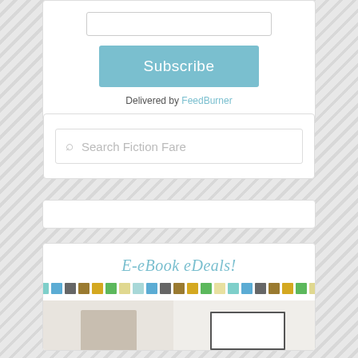[Figure (screenshot): Subscribe widget with input box and teal Subscribe button, 'Delivered by FeedBurner' text below]
Delivered by FeedBurner
[Figure (screenshot): Search box with magnifying glass icon and placeholder text 'Search Fiction Fare']
[Figure (screenshot): Empty white card widget]
[Figure (screenshot): E-Book Deals widget with cursive title, colorful square strip, and book cover preview at bottom]